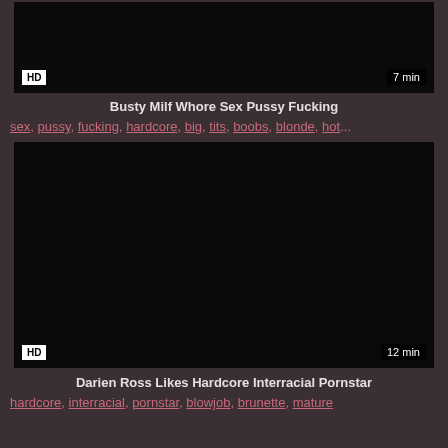[Figure (screenshot): Black video thumbnail with HD badge and 7 min duration label]
Busty Milf Whore Sex Pussy Fucking
sex, pussy, fucking, hardcore, big, tits, boobs, blonde, hot...
[Figure (screenshot): Black video thumbnail with HD badge and 12 min duration label]
Darien Ross Likes Hardcore Interracial Pornstar
hardcore, interracial, pornstar, blowjob, brunette, mature